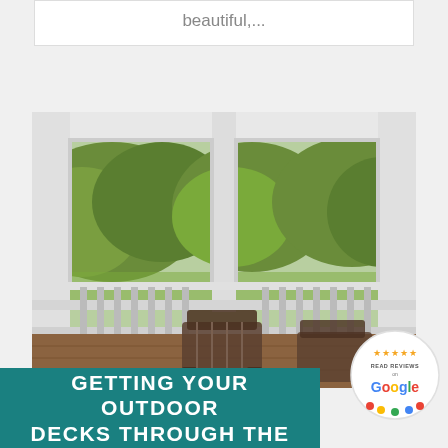beautiful,...
[Figure (photo): Interior view of a screened/windowed outdoor deck or porch with white railing, wooden deck floor, patio chairs, and a view of green trees outside.]
GETTING YOUR OUTDOOR DECKS THROUGH THE
[Figure (logo): Google Reviews badge with 5 stars and 'READ REVIEWS on Google' text with Google logo]